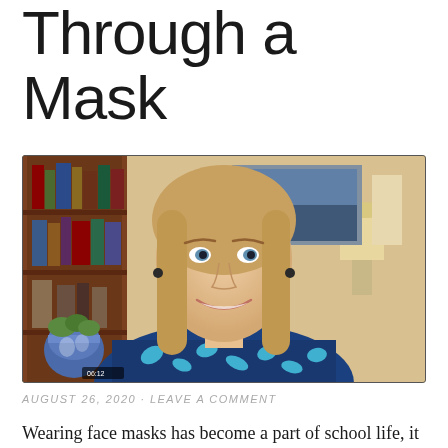Through a Mask
[Figure (photo): Video screenshot of a smiling woman with long blonde hair wearing a dark blue patterned blouse, sitting in front of a bookshelf and a lamp with a decorative figurine. A video timestamp is visible in the lower left corner reading 06:12.]
AUGUST 26, 2020 · LEAVE A COMMENT
Wearing face masks has become a part of school life, it is important to know how to communicate effectively while wearing one